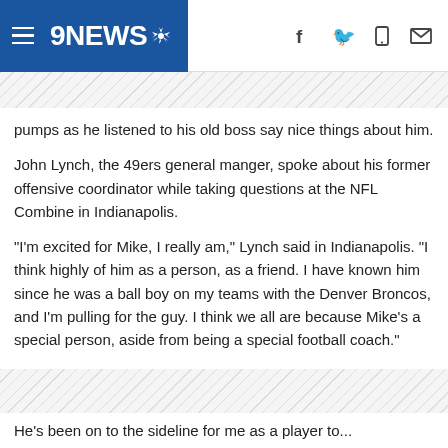9NEWS
pumps as he listened to his old boss say nice things about him.
John Lynch, the 49ers general manger, spoke about his former offensive coordinator while taking questions at the NFL Combine in Indianapolis.
"I'm excited for Mike, I really am," Lynch said in Indianapolis. "I think highly of him as a person, as a friend. I have known him since he was a ball boy on my teams with the Denver Broncos, and I'm pulling for the guy. I think we all are because Mike's a special person, aside from being a special football coach."
He's been on to the sideline for me as a player to...